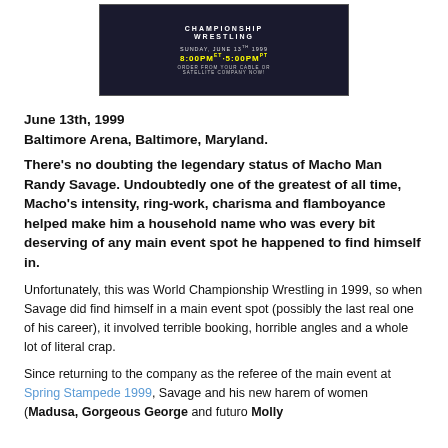[Figure (screenshot): WCW Championship Wrestling PPV advertisement showing Sunday June 13th 1999, 8:00PM ET - 5:00PM PT, Order from your cable or satellite company now!]
June 13th, 1999
Baltimore Arena, Baltimore, Maryland.
There's no doubting the legendary status of Macho Man Randy Savage. Undoubtedly one of the greatest of all time, Macho's intensity, ring-work, charisma and flamboyance helped make him a household name who was every bit deserving of any main event spot he happened to find himself in.
Unfortunately, this was World Championship Wrestling in 1999, so when Savage did find himself in a main event spot (possibly the last real one of his career), it involved terrible booking, horrible angles and a whole lot of literal crap.
Since returning to the company as the referee of the main event at Spring Stampede 1999, Savage and his new harem of women (Madusa, Gorgeous George and futuro Molly